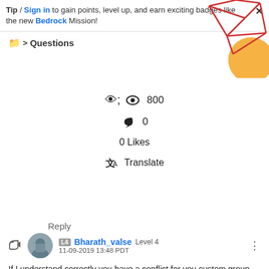Tip / Sign in to gain points, level up, and earn exciting badges like the new Bedrock Mission!
Questions
[Figure (illustration): Decorative red geometric network/graph lines with orange circle shapes in top-right corner]
800
0
0 Likes
Translate
Reply
Bharath_valse Level 4
11-09-2019 13:48 PDT
If I understand correctly you have a conflict for you custom group with everyone group. at times when there is a conflict, you can add ACLs directly using the GRYD...